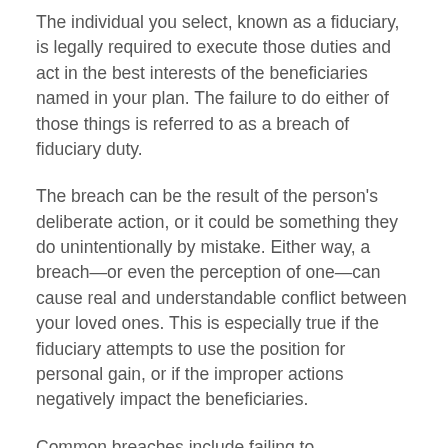The individual you select, known as a fiduciary, is legally required to execute those duties and act in the best interests of the beneficiaries named in your plan. The failure to do either of those things is referred to as a breach of fiduciary duty.
The breach can be the result of the person's deliberate action, or it could be something they do unintentionally by mistake. Either way, a breach—or even the perception of one—can cause real and understandable conflict between your loved ones. This is especially true if the fiduciary attempts to use the position for personal gain, or if the improper actions negatively impact the beneficiaries.
Common breaches include failing to